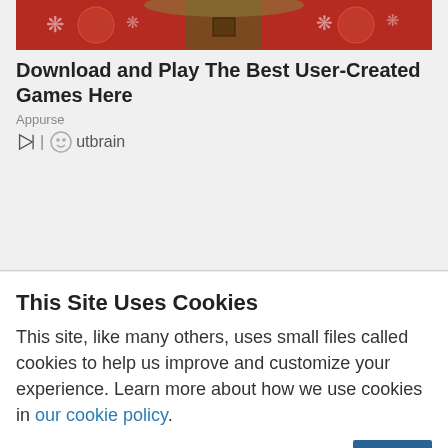[Figure (photo): Decorative red and brown patterned image used as advertisement banner]
Download and Play The Best User-Created Games Here
Appurse
[Figure (logo): Outbrain logo with play icon and circular face icon]
This Site Uses Cookies
This site, like many others, uses small files called cookies to help us improve and customize your experience. Learn more about how we use cookies in our cookie policy.
Learn more about cookies
OK